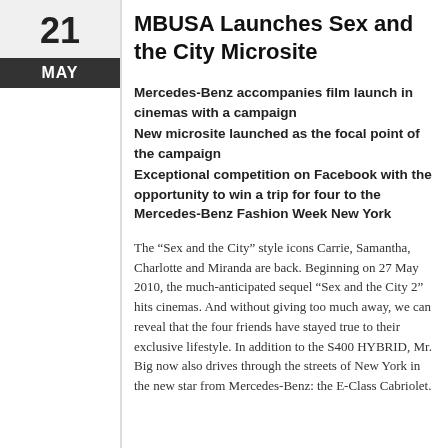MBUSA Launches Sex and the City Microsite
Mercedes-Benz accompanies film launch in cinemas with a campaign
New microsite launched as the focal point of the campaign
Exceptional competition on Facebook with the opportunity to win a trip for four to the Mercedes-Benz Fashion Week New York
The “Sex and the City” style icons Carrie, Samantha, Charlotte and Miranda are back. Beginning on 27 May 2010, the much-anticipated sequel “Sex and the City 2” hits cinemas. And without giving too much away, we can reveal that the four friends have stayed true to their exclusive lifestyle. In addition to the S400 HYBRID, Mr. Big now also drives through the streets of New York in the new star from Mercedes-Benz: the E-Class Cabriolet.